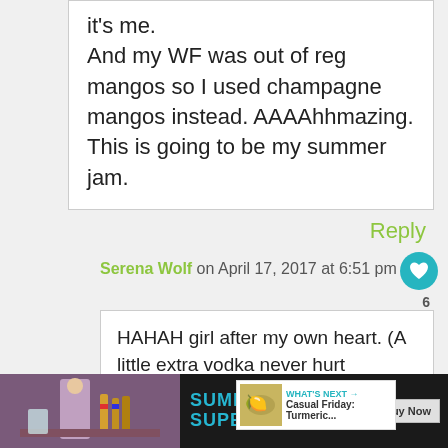it's me.
And my WF was out of reg mangos so I used champagne mangos instead. AAAAhhmazing. This is going to be my summer jam.
Reply
Serena Wolf on April 17, 2017 at 6:51 pm
HAHAH girl after my own heart. (A little extra vodka never hurt anyone.) Glad this were a smashing success!
WHAT'S NEXT → Casual Friday: Turmeric...
[Figure (photo): Advertisement banner at the bottom showing a person with drinks and text SUMMER THE SUPERIOR WAY with a Buy Now button]